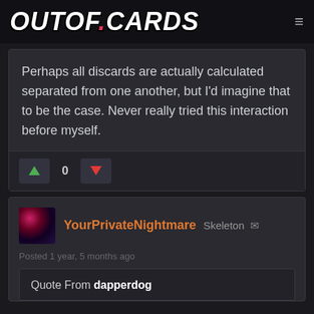OUTOF.CARDS
Perhaps all discards are actually calculated separated from one another, but I'd imagine that to be the case. Never really tried this interaction before myself.
0
YourPrivateNightmare  Skeleton
Posted 1 year, 5 months ago
Quote From dapperdog